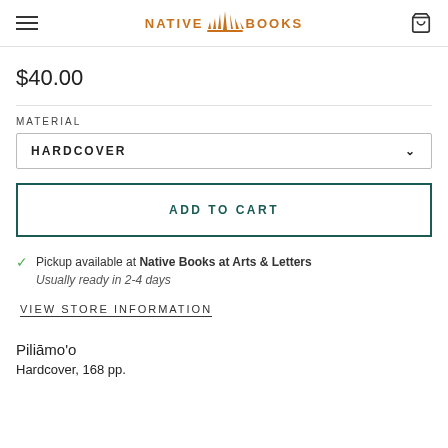Native Books (logo with sunburst icon)
$40.00
MATERIAL
HARDCOVER
ADD TO CART
Pickup available at Native Books at Arts & Letters
Usually ready in 2-4 days
VIEW STORE INFORMATION
Piliāmo'o
Hardcover, 168 pp.